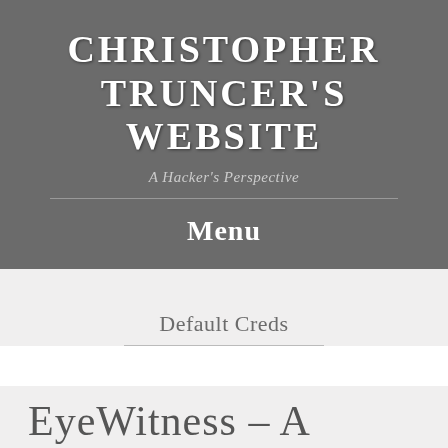CHRISTOPHER TRUNCER'S WEBSITE
A Hacker's Perspective
Menu
Default Creds
EyeWitness – A Rapid